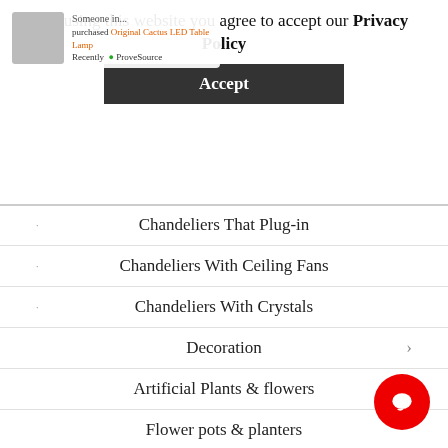[Figure (screenshot): ProveSource purchase notification showing a product image and text: purchased Original Cactus LED Table Lamp, Recently, ProveSource]
By using this website you agree to accept our Privacy Policy
Accept
Chandeliers That Plug-in
Chandeliers With Ceiling Fans
Chandeliers With Crystals
Decoration
Artificial Plants & flowers
Flower pots & planters
Decorative Toy Storage
Dining Room
Cutlery
Napkins & napkin holders